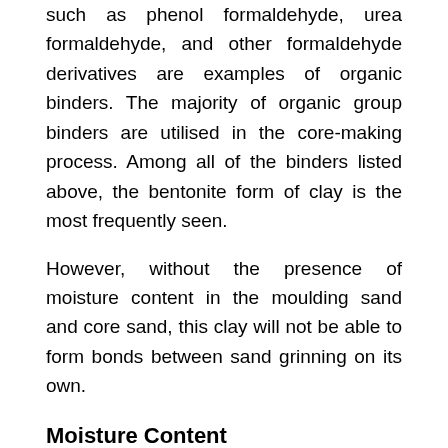such as phenol formaldehyde, urea formaldehyde, and other formaldehyde derivatives are examples of organic binders. The majority of organic group binders are utilised in the core-making process. Among all of the binders listed above, the bentonite form of clay is the most frequently seen.
However, without the presence of moisture content in the moulding sand and core sand, this clay will not be able to form bonds between sand grinning on its own.
Moisture Content
The quantity of moisture present in the moulding sand ranges between 2 and 8 percent. This quantity is added to a clay and silica sand combination in order to aid in the development of the moulding sand's properties.